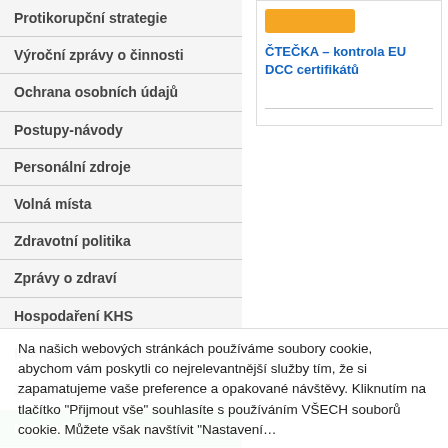Protikorupční strategie
Výroční zprávy o činnosti
Ochrana osobních údajů
Postupy-návody
Personální zdroje
Volná místa
Zdravotní politika
Zprávy o zdraví
Hospodaření KHS
Informace o výsledcích kontrol
Zkoušky, školení
Nejnovější příspěvky
Státní zdravotní dozor nad …
[Figure (other): Orange button/badge widget]
ČTEČKA – kontrola EU DCC certifikátů
Na našich webových stránkách používáme soubory cookie, abychom vám poskytli co nejrelevantnější služby tím, že si zapamatujeme vaše preference a opakované návštěvy. Kliknutím na tlačítko "Přijmout vše" souhlasíte s používáním VŠECH souborů cookie. Můžete však navštívit "Nastavení...